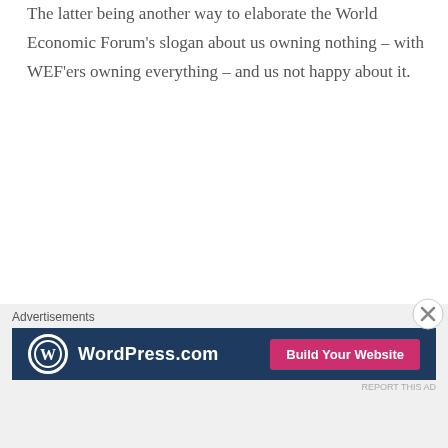The latter being another way to elaborate the World Economic Forum’s slogan about us owning nothing – with WEF’ers owning everything – and us not happy about it.
Speaking of which…
Who are these WEF people? Did anyone elect them to anything? Or did money – the dangling thereof, by Klaus Schwab, who invented the WEF and styled it in such a way as to give people the impression it’s some sort of elected group of “global
Advertisements
[Figure (other): WordPress.com advertisement banner with dark navy background, WordPress logo on left, and pink 'Build Your Website' button on right]